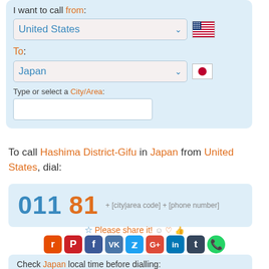I want to call from:
United States (dropdown, from field)
To:
Japan (dropdown, to field)
Type or select a City/Area:
To call Hashima District-Gifu in Japan from United States, dial:
011 81 + [city|area code] + [phone number]
Please share it!
Check Japan local time before dialling: